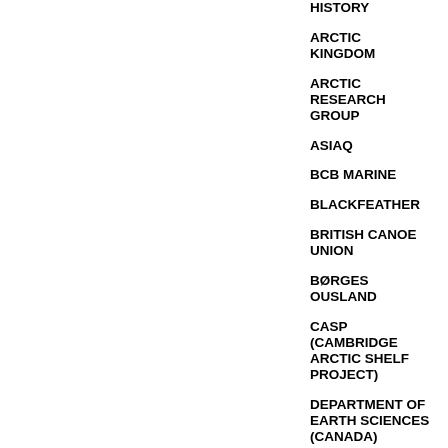HISTORY
ARCTIC KINGDOM
ARCTIC RESEARCH GROUP
ASIAQ
BCB MARINE
BLACKFEATHER
BRITISH CANOE UNION
BØRGES OUSLAND
CASP (CAMBRIDGE ARCTIC SHELF PROJECT)
DEPARTMENT OF EARTH SCIENCES (CANADA)
DIGITEM